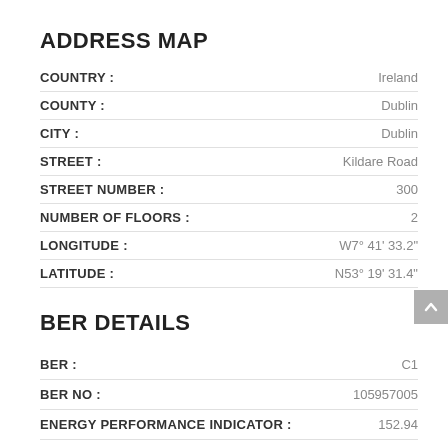ADDRESS MAP
| Field | Value |
| --- | --- |
| COUNTRY : | Ireland |
| COUNTY : | Dublin |
| CITY : | Dublin |
| STREET : | Kildare Road |
| STREET NUMBER : | 300 |
| NUMBER OF FLOORS : | 2 |
| LONGITUDE : | W7° 41' 33.2" |
| LATITUDE : | N53° 19' 31.4" |
BER DETAILS
| Field | Value |
| --- | --- |
| BER : | C1 |
| BER NO : | 105957005 |
| ENERGY PERFORMANCE INDICATOR : | 152.94 |